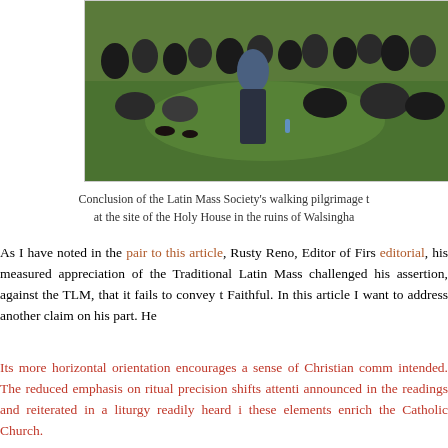[Figure (photo): Crowd of people kneeling and sitting on grass during an outdoor religious gathering, viewed from behind, in daylight.]
Conclusion of the Latin Mass Society's walking pilgrimage t at the site of the Holy House in the ruins of Walsingha
As I have noted in the pair to this article, Rusty Reno, Editor of Firs editorial, his measured appreciation of the Traditional Latin Mass challenged his assertion, against the TLM, that it fails to convey t Faithful. In this article I want to address another claim on his part. He
Its more horizontal orientation encourages a sense of Christian comm intended. The reduced emphasis on ritual precision shifts attenti announced in the readings and reiterated in a liturgy readily heard i these elements enrich the Catholic Church.